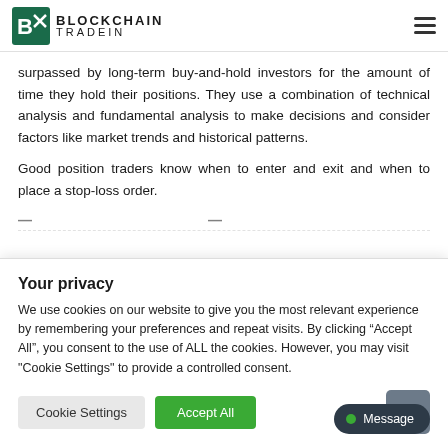BLOCKCHAIN TRADEIN
surpassed by long-term buy-and-hold investors for the amount of time they hold their positions. They use a combination of technical analysis and fundamental analysis to make decisions and consider factors like market trends and historical patterns.
Good position traders know when to enter and exit and when to place a stop-loss order.
[partial/clipped section header]
Your privacy
We use cookies on our website to give you the most relevant experience by remembering your preferences and repeat visits. By clicking “Accept All”, you consent to the use of ALL the cookies. However, you may visit “Cookie Settings” to provide a controlled consent.